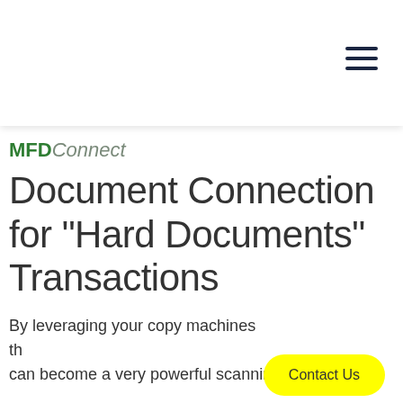≡
MFDConnect
Document Connection for "Hard Documents" Transactions
By leveraging your copy machines th... can become a very powerful scanning and printing